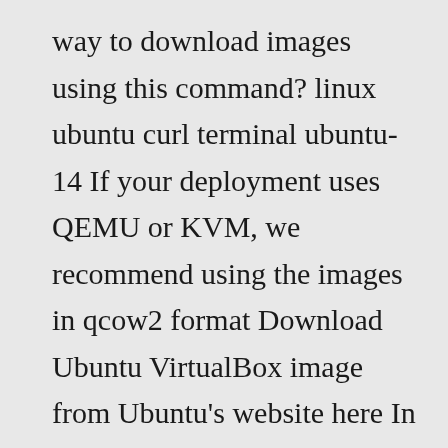way to download images using this command? linux ubuntu curl terminal ubuntu-14 If your deployment uses QEMU or KVM, we recommend using the images in qcow2 format Download Ubuntu VirtualBox image from Ubuntu's website here In other words, is it complete? Get the password for 'ubuntu… Reboot the VM; Now import the qcow2 image in glance # ls /var/lib/cloud/ data Download an Ubuntu